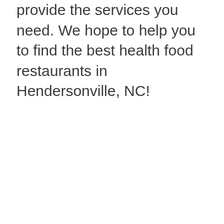provide the services you need. We hope to help you to find the best health food restaurants in Hendersonville, NC!